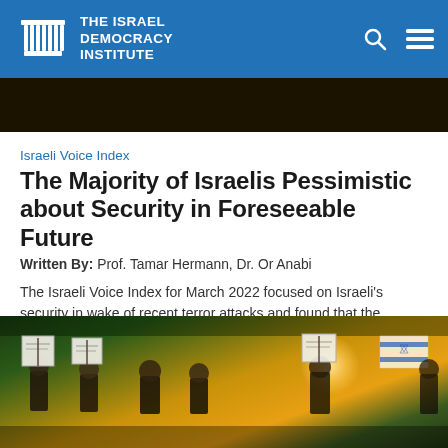THE ISRAEL DEMOCRACY INSTITUTE
[Figure (photo): Dark background image strip at the top of the page, appears to be a nighttime or dimly lit scene.]
Israeli Voice Index
The Majority of Israelis Pessimistic about Security in Foreseeable Future
Written By: Prof. Tamar Hermann, Dr. Or Anabi
The Israeli Voice Index for March 2022 focused on Israeli's security in wake of recent terror attacks and found that the majority of both Jewish and Arab Israelis are pessimistic about Israel's security situation in the foreseeable future.
[Figure (photo): Protest photo showing people holding signs in an outdoor nighttime setting with yellow and green background lighting, appears to be a demonstration in Israel.]